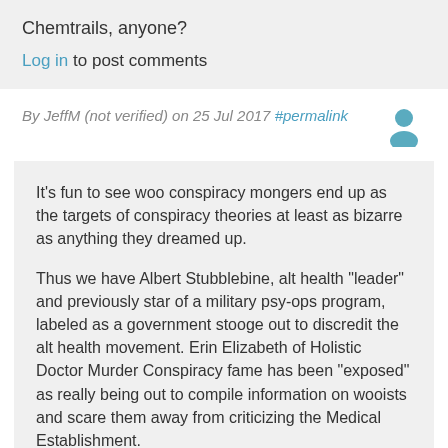Chemtrails, anyone?
Log in to post comments
By JeffM (not verified) on 25 Jul 2017 #permalink
[Figure (illustration): User avatar icon — a generic person silhouette in blue]
It’s fun to see woo conspiracy mongers end up as the targets of conspiracy theories at least as bizarre as anything they dreamed up.
Thus we have Albert Stubblebine, alt health "leader" and previously star of a military psy-ops program, labeled as a government stooge out to discredit the alt health movement. Erin Elizabeth of Holistic Doctor Murder Conspiracy fame has been "exposed" as really being out to compile information on wooists and scare them away from criticizing the Medical Establishment.
"Applied in the Mercola-Finn natural health products enterprise, Erin’s deception is a